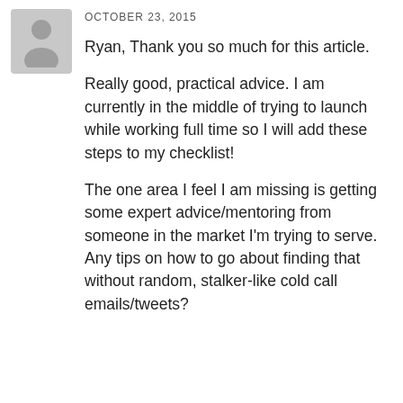[Figure (illustration): Gray placeholder avatar silhouette icon on light gray background]
OCTOBER 23, 2015
Ryan, Thank you so much for this article.
Really good, practical advice. I am currently in the middle of trying to launch while working full time so I will add these steps to my checklist!
The one area I feel I am missing is getting some expert advice/mentoring from someone in the market I'm trying to serve. Any tips on how to go about finding that without random, stalker-like cold call emails/tweets?